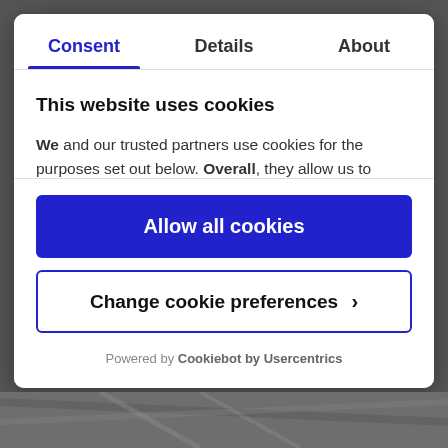Consent | Details | About
This website uses cookies
We and our trusted partners use cookies for the purposes set out below. Overall, they allow us to provide you with a better online experience, to tailor social media features, preferences and marketing, and
Allow all cookies
Change cookie preferences >
Powered by Cookiebot by Usercentrics